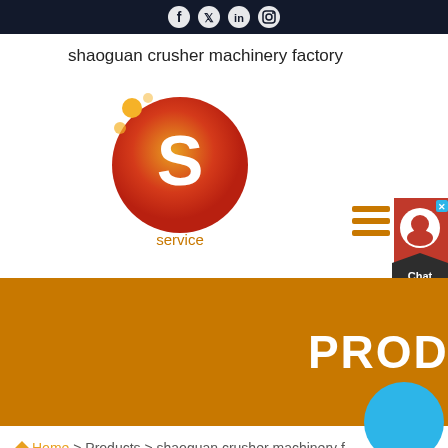social media icons bar
shaoguan crusher machinery factory
[Figure (logo): Shaoguan crusher machinery factory logo: orange/red circular badge with white S letter, with bubbles, labeled 'service' below]
[Figure (other): Chat widget with hamburger menu icon (three orange lines) and chat head button with X close, showing 'Chat Now' label]
PRODUCTS
Home > Products > shaoguan crusher machinery f...
[Figure (photo): Photo of industrial crusher machinery in a factory with banner in background]